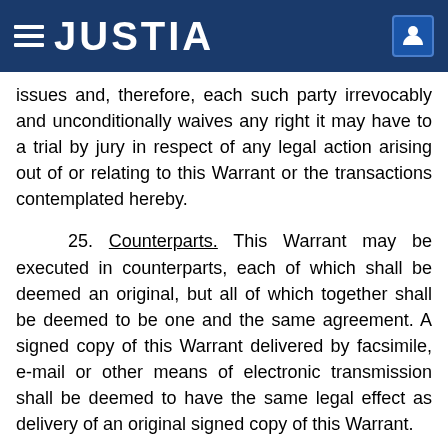JUSTIA
issues and, therefore, each such party irrevocably and unconditionally waives any right it may have to a trial by jury in respect of any legal action arising out of or relating to this Warrant or the transactions contemplated hereby.
25. Counterparts. This Warrant may be executed in counterparts, each of which shall be deemed an original, but all of which together shall be deemed to be one and the same agreement. A signed copy of this Warrant delivered by facsimile, e-mail or other means of electronic transmission shall be deemed to have the same legal effect as delivery of an original signed copy of this Warrant.
26. No Strict Construction. This Warrant shall be construed without regard to any presumption or rule